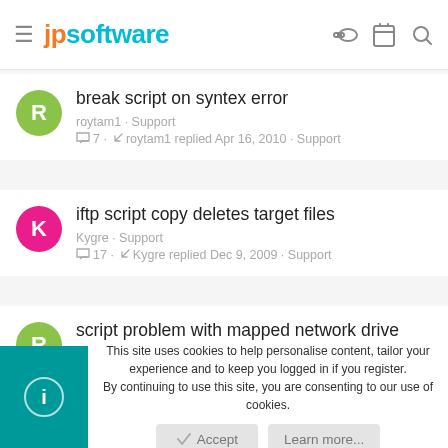jpsoftware
break script on syntex error
roytam1 · Support
7 · roytam1 replied Apr 16, 2010 · Support
iftp script copy deletes target files
Kygre · Support
17 · Kygre replied Dec 9, 2009 · Support
script problem with mapped network drive
rawood11 · Support
1 · rawood11 replied Oct 30, 2008 · Support
This site uses cookies to help personalise content, tailor your experience and to keep you logged in if you register. By continuing to use this site, you are consenting to our use of cookies.
Accept
Learn more...